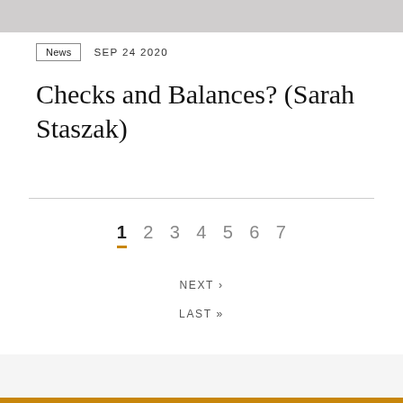[Figure (photo): Partial image banner at top of page, grayscale]
News  SEP 24 2020
Checks and Balances? (Sarah Staszak)
1  2  3  4  5  6  7
NEXT ›
LAST »